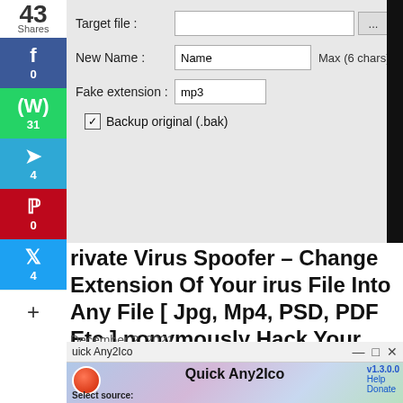[Figure (screenshot): Software UI screenshot showing Target file, New Name, Fake extension fields and Backup original checkbox]
rivate Virus Spoofer – Change Extension Of Your irus File Into Any File [ Jpg, Mp4, PSD, PDF Etc ] nonymously Hack Your Victim
December 2, 2021
[Figure (screenshot): Quick Any2Ico application window v1.3.0.0 with Convert from any file or folder and Extract from binary file resource options, Browse button, Icon index field, and Select destination icon file section]